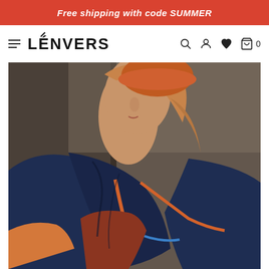Free shipping with code SUMMER
LÉNVERS
[Figure (photo): Woman wearing a navy blue knitted shawl/scarf with orange trim, looking upward. She wears an orange/rust beret hat. The background shows a textured dark surface. The shawl has geometric color-block sections in navy, rust/red and a blue stripe.]